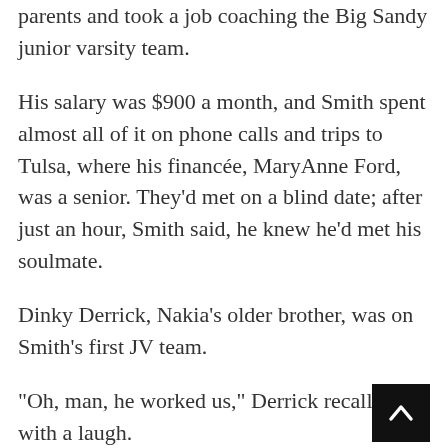parents and took a job coaching the Big Sandy junior varsity team.
His salary was $900 a month, and Smith spent almost all of it on phone calls and trips to Tulsa, where his financée, MaryAnne Ford, was a senior. They'd met on a blind date; after just an hour, Smith said, he knew he'd met his soulmate.
Dinky Derrick, Nakia's older brother, was on Smith's first JV team.
“Oh, man, he worked us,” Derrick recalled with a laugh.
Once a week, Smith would drive the team members to the county line in a school bus, then have them run the three miles back to the